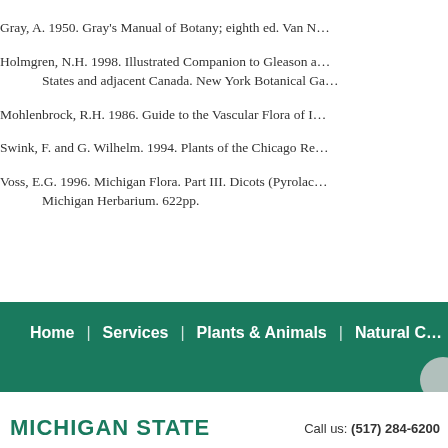Gray, A. 1950. Gray's Manual of Botany; eighth ed. Van N…
Holmgren, N.H. 1998. Illustrated Companion to Gleason a… States and adjacent Canada. New York Botanical Ga…
Mohlenbrock, R.H. 1986. Guide to the Vascular Flora of I…
Swink, F. and G. Wilhelm. 1994. Plants of the Chicago Re…
Voss, E.G. 1996. Michigan Flora. Part III. Dicots (Pyrolac… Michigan Herbarium. 622pp.
Home | Services | Plants & Animals | Natural C…
MICHIGAN STATE   Call us: (517) 284-6200